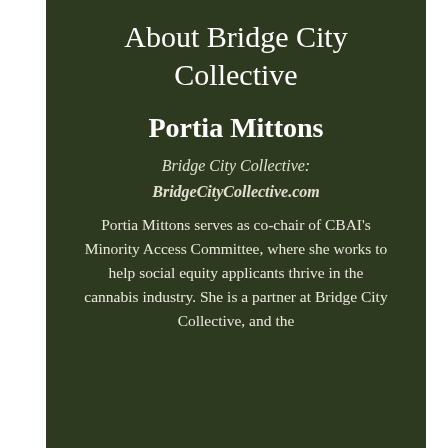About Bridge City Collective
Portia Mittons
Bridge City Collective:
BridgeCityCollective.com
Portia Mittons serves as co-chair of CBAI's Minority Access Committee, where she works to help social equity applicants thrive in the cannabis industry. She is a partner at Bridge City Collective, and the